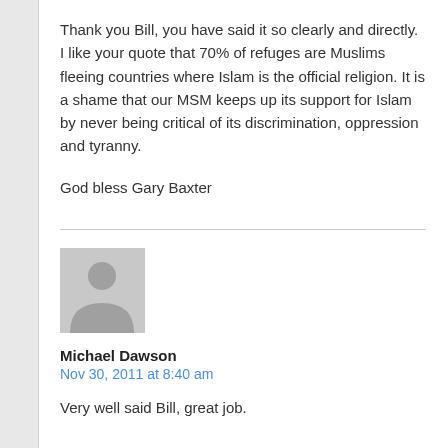Thank you Bill, you have said it so clearly and directly. I like your quote that 70% of refuges are Muslims fleeing countries where Islam is the official religion. It is a shame that our MSM keeps up its support for Islam by never being critical of its discrimination, oppression and tyranny.
God bless Gary Baxter
[Figure (illustration): Default user avatar placeholder image - grey silhouette of a person on a light grey background]
Michael Dawson
Nov 30, 2011 at 8:40 am
Very well said Bill, great job.